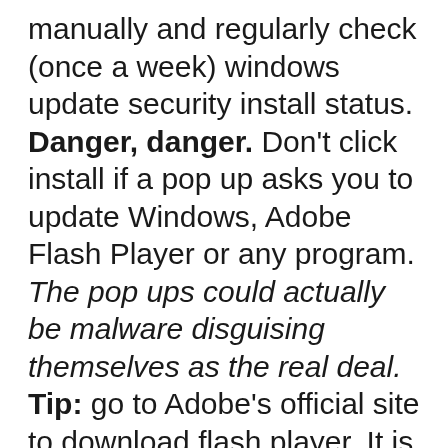manually and regularly check (once a week) windows update security install status. Danger, danger. Don't click install if a pop up asks you to update Windows, Adobe Flash Player or any program. The pop ups could actually be malware disguising themselves as the real deal. Tip: go to Adobe's official site to download flash player. It is a safe, trusted source.
How to Update Windows